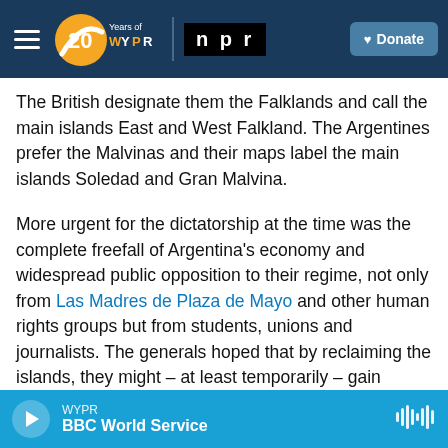WYPR 20 Years of WYPR | npr | Donate
The British designate them the Falklands and call the main islands East and West Falkland. The Argentines prefer the Malvinas and their maps label the main islands Soledad and Gran Malvina.
More urgent for the dictatorship at the time was the complete freefall of Argentina's economy and widespread public opposition to their regime, not only from Las Madres de Plaza de Mayo and other human rights groups but from students, unions and journalists. The generals hoped that by reclaiming the islands, they might – at least temporarily – gain popular favor and reassert control.
WYPR | BBC World Service